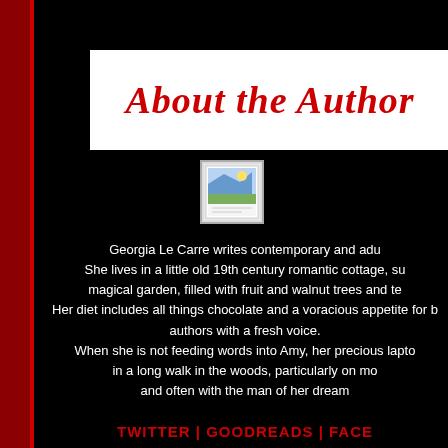About the Author
[Figure (photo): Small author photo thumbnail with landscape/image icon]
Georgia Le Carre writes contemporary and adult romance. She lives in a little old 19th century romantic cottage, surrounded by a magical garden, filled with fruit and walnut trees and trailing roses. Her diet includes all things chocolate and a voracious appetite for books by authors with a fresh voice. When she is not feeding words into Amy, her precious laptop, she can be found in a long walk in the woods, particularly on moonlit winter nights, and often with the man of her dreams.
TWITTER | GOODREADS | FACE...